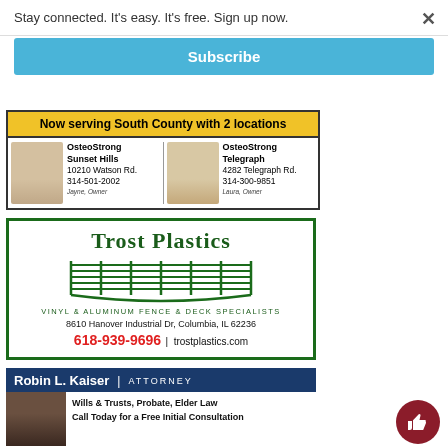Stay connected. It's easy. It's free. Sign up now.
×
Subscribe
[Figure (infographic): OsteoStrong advertisement: Now serving South County with 2 locations. OsteoStrong Sunset Hills, 10210 Watson Rd., 314-501-2002, Jayne, Owner. OsteoStrong Telegraph, 4282 Telegraph Rd., 314-300-9851, Laura, Owner.]
[Figure (infographic): Trost Plastics advertisement: Vinyl & Aluminum Fence & Deck Specialists. 8610 Hanover Industrial Dr, Columbia, IL 62236. 618-939-9696 | trostplastics.com]
[Figure (infographic): Robin L. Kaiser Attorney advertisement: Wills & Trusts, Probate, Elder Law. Call Today for a Free Initial Consultation.]